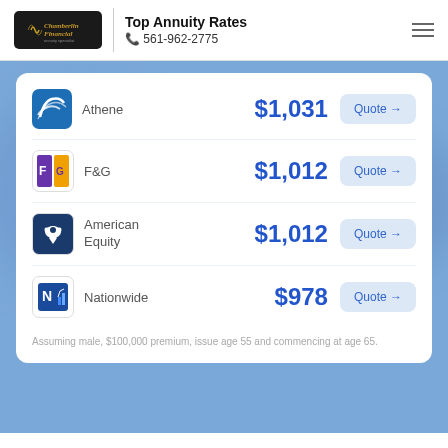Top Annuity Rates | 561-962-2775
| Company | Monthly Income | Action |
| --- | --- | --- |
| Athene | $1,031 | Quote → |
| F&G | $1,012 | Quote → |
| American Equity | $1,012 | Quote → |
| Nationwide | $978 | Quote → |
Assuming male, $100,000 premium, issue age 55 and commencing at age 65.